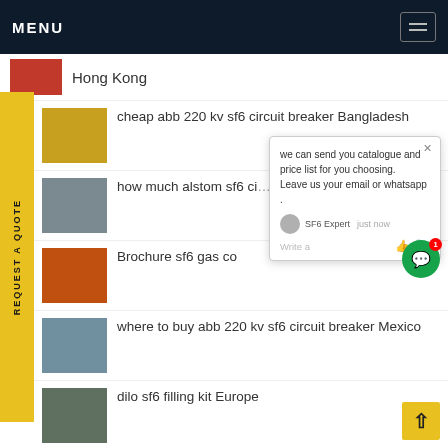MENU
Hong Kong
cheap abb 220 kv sf6 circuit breaker Bangladesh
how much alstom sf6 circuit breaker Malaysia
Brochure sf6 gas co...
where to buy abb 220 kv sf6 circuit breaker Mexico
dilo sf6 filling kit Europe
we can send you catalogue and price list for you choosing.
Leave us your email or whatsapp .
SF6 Expert   just now
Write a